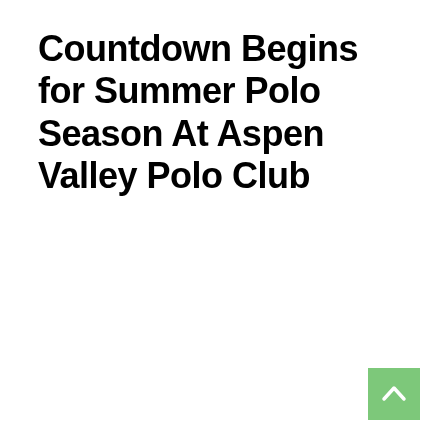Countdown Begins for Summer Polo Season At Aspen Valley Polo Club
[Figure (other): Green square button with white upward-pointing chevron/arrow icon, positioned at bottom-right corner]